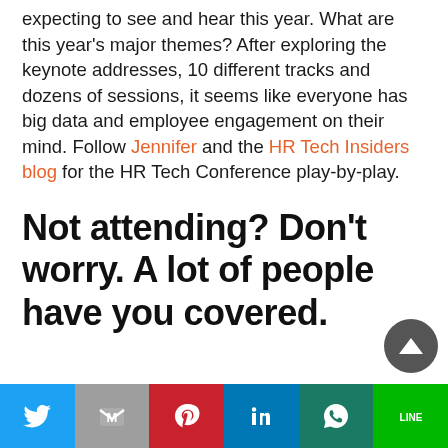expecting to see and hear this year. What are this year's major themes? After exploring the keynote addresses, 10 different tracks and dozens of sessions, it seems like everyone has big data and employee engagement on their mind. Follow Jennifer and the HR Tech Insiders blog for the HR Tech Conference play-by-play.
Not attending? Don't worry. A lot of people have you covered.